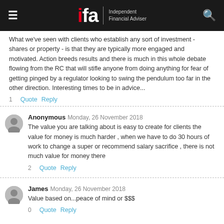ifa - Independent Financial Adviser
What we've seen with clients who establish any sort of investment - shares or property - is that they are typically more engaged and motivated. Action breeds results and there is much in this whole debate flowing from the RC that will stifle anyone from doing anything for fear of getting pinged by a regulator looking to swing the pendulum too far in the other direction. Interesting times to be in advice...
1   Quote  Reply
Anonymous  Monday, 26 November 2018
The value you are talking about is easy to create for clients the value for money is much harder , when we have to do 30 hours of work to change a super or recommend salary sacrifice , there is not much value for money there
2   Quote  Reply
James  Monday, 26 November 2018
Value based on...peace of mind or $$$
0   Quote  Reply